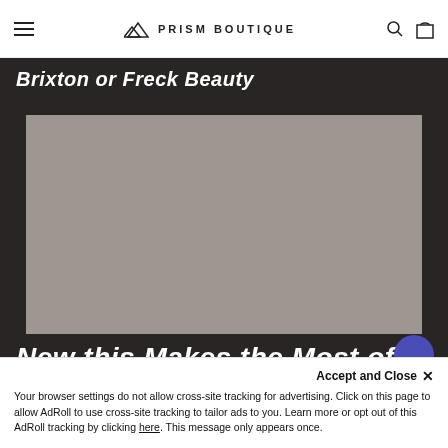PRISM BOUTIQUE
Brixton or Freck Beauty
[Figure (photo): Gray rectangular image placeholder in a dark-background section of a retail/boutique website]
New this Makes the Most of Your Collection
Accept and Close ×
Your browser settings do not allow cross-site tracking for advertising. Click on this page to allow AdRoll to use cross-site tracking to tailor ads to you. Learn more or opt out of this AdRoll tracking by clicking here. This message only appears once.